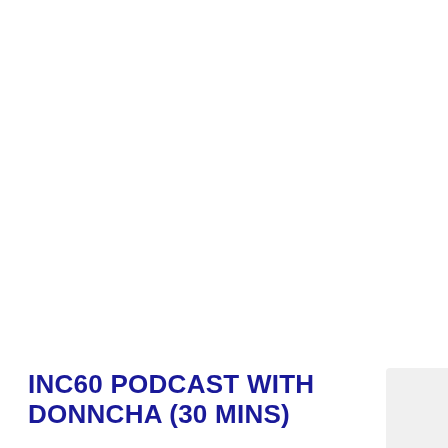INC60 PODCAST WITH DONNCHA (30 MINS)